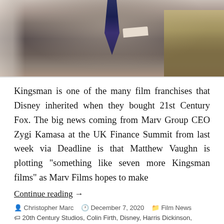[Figure (photo): Cropped photo of a person in a grey suit with a navy striped tie and white pocket square, with a decorative background visible on the right]
Kingsman is one of the many film franchises that Disney inherited when they bought 21st Century Fox. The big news coming from Marv Group CEO Zygi Kamasa at the UK Finance Summit from last week via Deadline is that Matthew Vaughn is plotting "something like seven more Kingsman films" as Marv Films hopes to make
Continue reading →
Christopher Marc  December 7, 2020  Film News
20th Century Studios, Colin Firth, Disney, Harris Dickinson, Kingsman, Kingsman 10, Kingsman 3, Kingsman 4, Kingsman 5, Kingsman 6, Kingsman 7, Kingsman 8, Kingsman 9, Kingsman Series, Mark Millar, Marv Films, Matthew Vaughn,